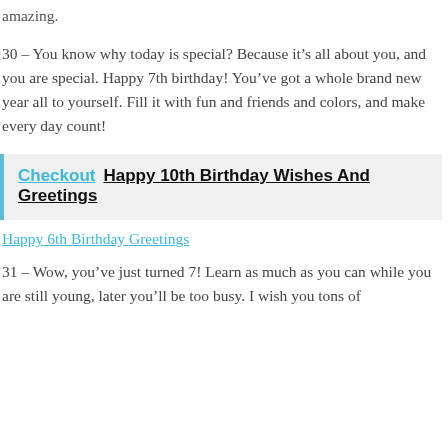amazing.
30 – You know why today is special? Because it's all about you, and you are special. Happy 7th birthday! You've got a whole brand new year all to yourself. Fill it with fun and friends and colors, and make every day count!
Checkout  Happy 10th Birthday Wishes And Greetings
Happy 6th Birthday Greetings
31 – Wow, you've just turned 7! Learn as much as you can while you are still young, later you'll be too busy. I wish you tons of